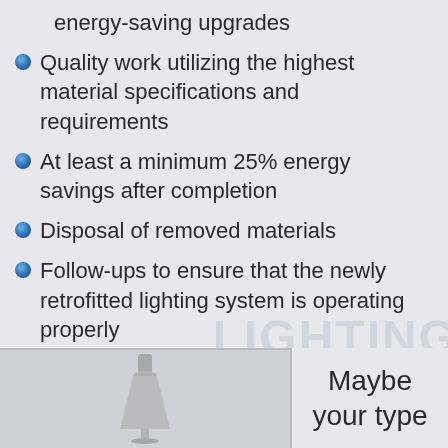energy-saving upgrades
Quality work utilizing the highest material specifications and requirements
At least a minimum 25% energy savings after completion
Disposal of removed materials
Follow-ups to ensure that the newly retrofitted lighting system is operating properly
Maybe your type